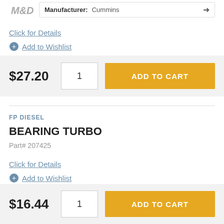[Figure (logo): M&D logo, partially visible at top left]
Manufacturer: Cummins
Click for Details
Add to Wishlist
$27.20
ADD TO CART
FP DIESEL
BEARING TURBO
Part# 207425
Click for Details
Add to Wishlist
$16.44
ADD TO CART